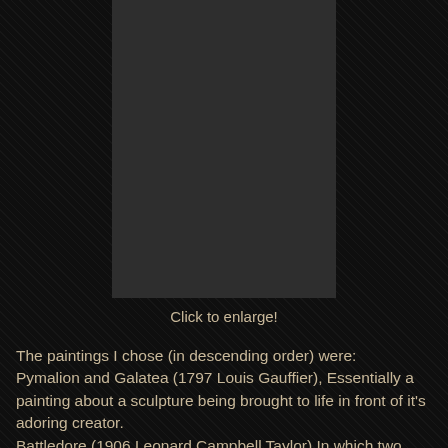[Figure (photo): A dark rectangular image placeholder, appearing as a solid dark gray/charcoal rectangle, centered horizontally on a black textured background.]
Click to enlarge!
The paintings I chose (in descending order) were: Pymalion and Galatea (1797 Louis Gauffier), Essentially a painting about a sculpture being brought to life in front of it's adoring creator. Battledore (1906 Leonard Campbell Taylor) In which two